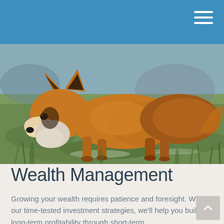[Figure (photo): A red fox crouching low in green grass, photographed from the side. The fox has orange-red fur with a white chest and dark markings. The background is blurred greenery.]
Wealth Management
Growing your wealth requires patience and foresight. With our time-tested investment strategies, we'll help you build long-term profitability through short-term